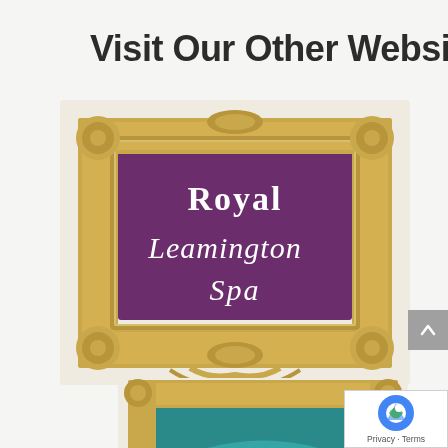Visit Our Other Websites
[Figure (logo): Ornate gold decorative picture frame with purple/plum background inside, containing the text 'Royal Leamington Spa' in white decorative serif typography]
[Figure (photo): Partial view of a second ornate gold decorative picture frame, partially cropped at bottom of page, with teal/green background visible inside]